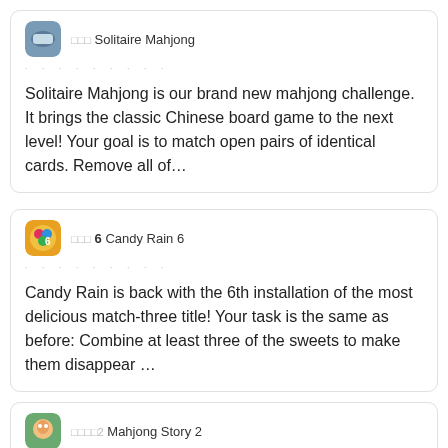□□□ Solitaire Mahjong
Solitaire Mahjong is our brand new mahjong challenge. It brings the classic Chinese board game to the next level! Your goal is to match open pairs of identical cards. Remove all of…
□□□ 6 Candy Rain 6
Candy Rain is back with the 6th installation of the most delicious match-three title! Your task is the same as before: Combine at least three of the sweets to make them disappear …
□□□□2 Mahjong Story 2